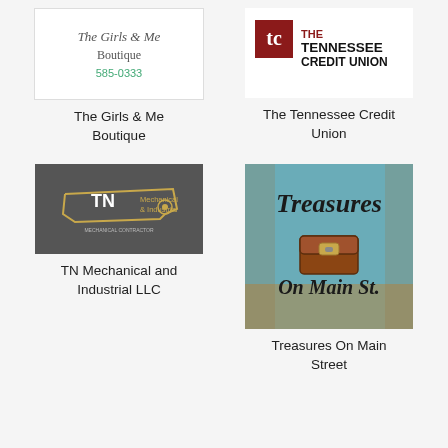[Figure (logo): The Girls & Me Boutique logo with phone number 585-0333]
[Figure (logo): The Tennessee Credit Union logo with TC monogram and bold text]
The Girls & Me Boutique
The Tennessee Credit Union
[Figure (logo): TN Mechanical & Industrial logo on dark grey background with Tennessee state outline]
[Figure (illustration): Treasures On Main St. decorative sign with treasure chest on teal/rusty background]
TN Mechanical and Industrial LLC
Treasures On Main Street